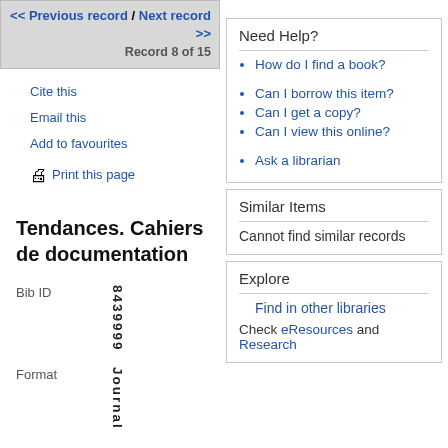<< Previous record / Next record >> Record 8 of 15
Cite this
Email this
Add to favourites
Print this page
Tendances. Cahiers de documentation
Bib ID   8439999
Format   Journal
Need Help?
How do I find a book?
Can I borrow this item?
Can I get a copy?
Can I view this online?
Ask a librarian
Similar Items
Cannot find similar records
Explore
Find in other libraries
Check eResources and Research